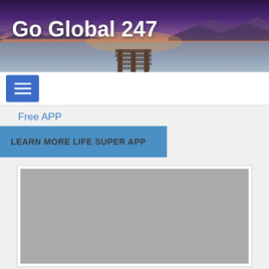[Figure (photo): Website header banner for Go Global 247 — sunset over a lake with a wooden dock/pier, mountains in background, purple and orange sky. Text 'Go Global 247' overlaid in bold white.]
Go Global 247
[Figure (other): Blue hamburger menu button (three horizontal white lines on blue background)]
Free APP
LEARN MORE LIFE SUPER APP
[Figure (photo): Gray placeholder image rectangle]